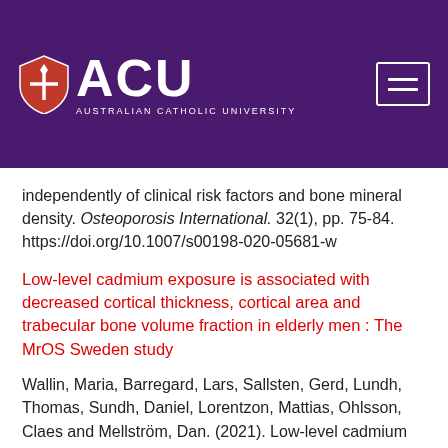[Figure (logo): Australian Catholic University (ACU) logo with shield icon on dark purple header background, with hamburger menu icon on right]
independently of clinical risk factors and bone mineral density. Osteoporosis International. 32(1), pp. 75-84. https://doi.org/10.1007/s00198-020-05681-w
Low-level cadmium exposure is associated with decreased cortical thickness, cortical area and trabecular bone volume fraction in elderly men : The MrOS Sweden study
Wallin, Maria, Barregard, Lars, Sallsten, Gerd, Lundh, Thomas, Sundh, Daniel, Lorentzon, Mattias, Ohlsson, Claes and Mellström, Dan. (2021). Low-level cadmium exposure is associated with decreased cortical thickness, cortical area and